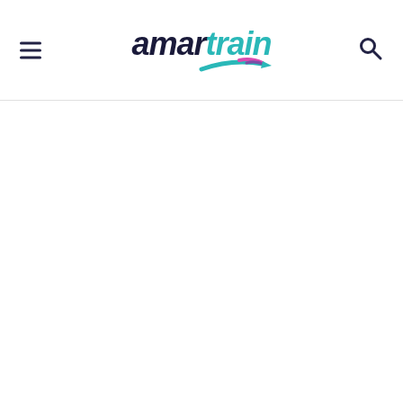[Figure (logo): Amartrain logo with hamburger menu icon on the left, the amartrain wordmark in the center (amar in dark navy bold italic, train in teal bold italic, with a colorful swoosh/streak graphic beneath), and a search magnifying glass icon on the right. Below is a horizontal divider line and a large white content area.]